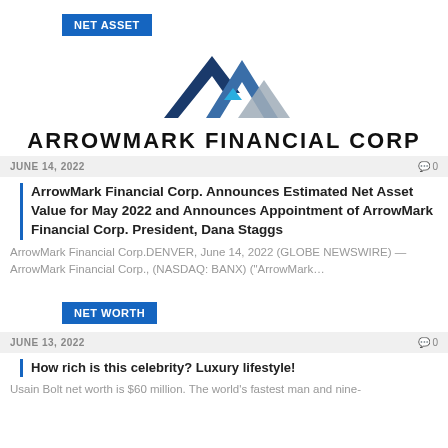NET ASSET
[Figure (logo): ArrowMark Financial Corp logo — two mountain peak chevrons in dark blue and light blue/gray]
ARROWMARK FINANCIAL CORP
JUNE 14, 2022   0
ArrowMark Financial Corp. Announces Estimated Net Asset Value for May 2022 and Announces Appointment of ArrowMark Financial Corp. President, Dana Staggs
ArrowMark Financial Corp.DENVER, June 14, 2022 (GLOBE NEWSWIRE) — ArrowMark Financial Corp., (NASDAQ: BANX) ("ArrowMark…
NET WORTH
JUNE 13, 2022   0
How rich is this celebrity? Luxury lifestyle!
Usain Bolt net worth is $60 million. The world's fastest man and nine-